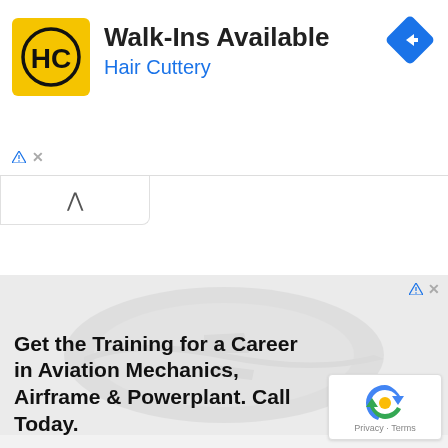[Figure (screenshot): Hair Cuttery advertisement banner. Yellow square logo with HC monogram. Text: Walk-Ins Available, Hair Cuttery. Blue diamond navigation icon on right.]
[Figure (screenshot): Second advertisement for aviation mechanics training. Faint background image of aircraft. Text: Get the Training for a Career in Aviation Mechanics, Airframe & Powerplant. Call Today. reCAPTCHA badge in bottom right.]